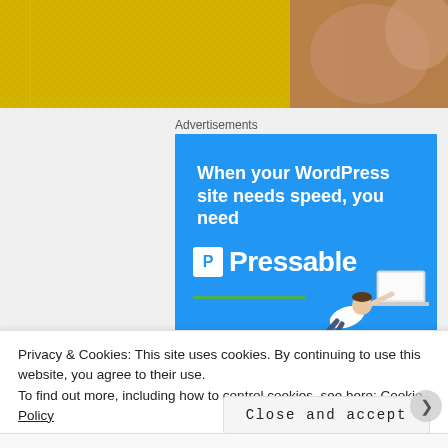[Figure (photo): Decorative glittery gold and stone texture photo strip at top of page]
Advertisements
[Figure (infographic): Pressable WordPress hosting advertisement banner with blue background, text 'When your WordPress site needs speed, you need Pressable', Pressable logo, green underline, and person flying with laptop]
Privacy & Cookies: This site uses cookies. By continuing to use this website, you agree to their use.
To find out more, including how to control cookies, see here: Cookie Policy
Close and accept